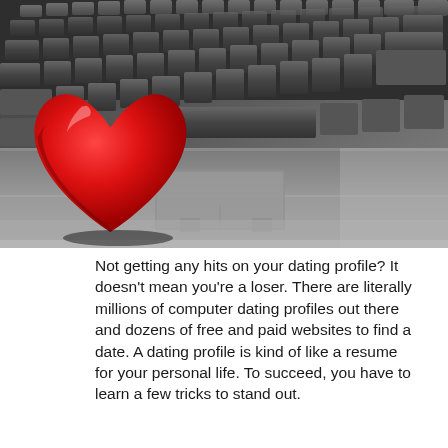[Figure (photo): Close-up photo of a dark gray laptop keyboard with a red heart-shaped object resting on the keys, viewed at an angle. The heart is in the lower-left area, and the keyboard keys are visible in detail across the image.]
Not getting any hits on your dating profile? It doesn't mean you're a loser. There are literally millions of computer dating profiles out there and dozens of free and paid websites to find a date. A dating profile is kind of like a resume for your personal life. To succeed, you have to learn a few tricks to stand out.